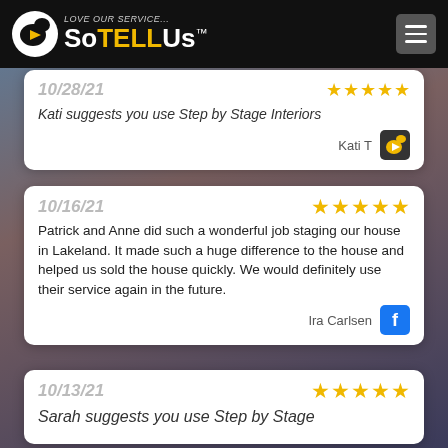Love our service... SoTellUs
10/28/21 ★★★★★
Kati suggests you use Step by Stage Interiors
Kati T
10/16/21 ★★★★★
Patrick and Anne did such a wonderful job staging our house in Lakeland. It made such a huge difference to the house and helped us sold the house quickly. We would definitely use their service again in the future.
Ira Carlsen
10/13/21 ★★★★★
Sarah suggests you use Step by Stage